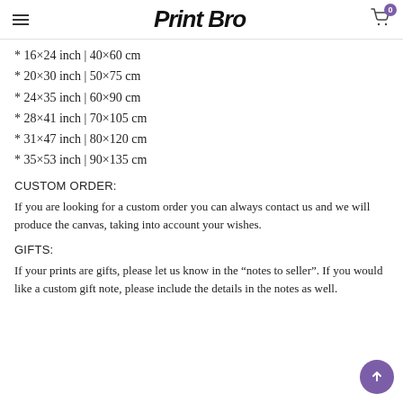Print Bro
* 16×24 inch | 40×60 cm
* 20×30 inch | 50×75 cm
* 24×35 inch | 60×90 cm
* 28×41 inch | 70×105 cm
* 31×47 inch | 80×120 cm
* 35×53 inch | 90×135 cm
CUSTOM ORDER:
If you are looking for a custom order you can always contact us and we will produce the canvas, taking into account your wishes.
GIFTS:
If your prints are gifts, please let us know in the “notes to seller”. If you would like a custom gift note, please include the details in the notes as well.